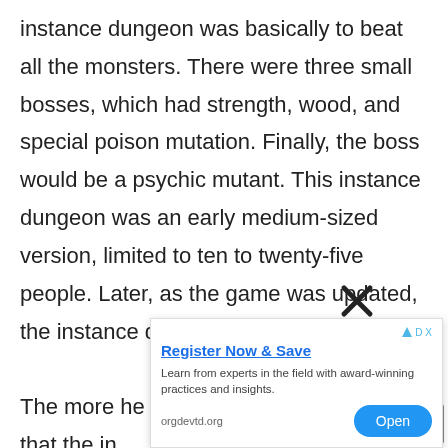instance dungeon was basically to beat all the monsters. There were three small bosses, which had strength, wood, and special poison mutation. Finally, the boss would be a psychic mutant. This instance dungeon was an early medium-sized version, limited to ten to twenty-five people. Later, as the game was updated, the instance dungeon was closed.

The more he looked at it  the more he felt that the in[...] e the leade[...]
[Figure (other): Advertisement overlay with close button (X), 'Register Now & Save' title in blue underlined text, body text 'Learn from experts in the field with award-winning practices and insights.', domain 'orgdevtd.org', and a blue 'Open' button. Also contains a dark scroll-to-top button in bottom right.]